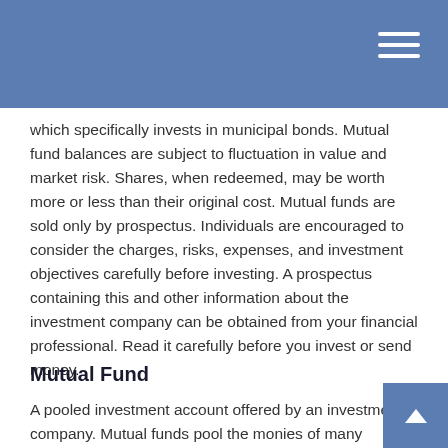which specifically invests in municipal bonds. Mutual fund balances are subject to fluctuation in value and market risk. Shares, when redeemed, may be worth more or less than their original cost. Mutual funds are sold only by prospectus. Individuals are encouraged to consider the charges, risks, expenses, and investment objectives carefully before investing. A prospectus containing this and other information about the investment company can be obtained from your financial professional. Read it carefully before you invest or send money.
Mutual Fund
A pooled investment account offered by an investment company. Mutual funds pool the monies of many investors and then invest the money to pursue the [fund's stated objectives. The resulting portfolio of…]